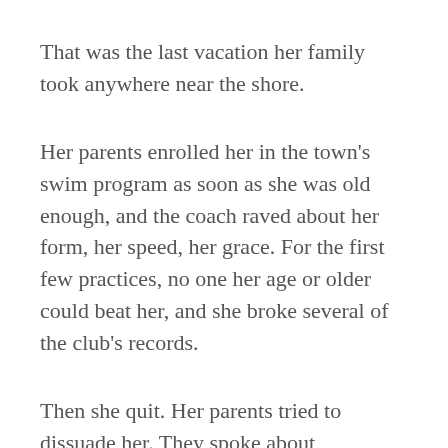That was the last vacation her family took anywhere near the shore.
Her parents enrolled her in the town's swim program as soon as she was old enough, and the coach raved about her form, her speed, her grace. For the first few practices, no one her age or older could beat her, and she broke several of the club's records.
Then she quit. Her parents tried to dissuade her. They spoke about perseverance, about her obvious talent, about what her future could be.